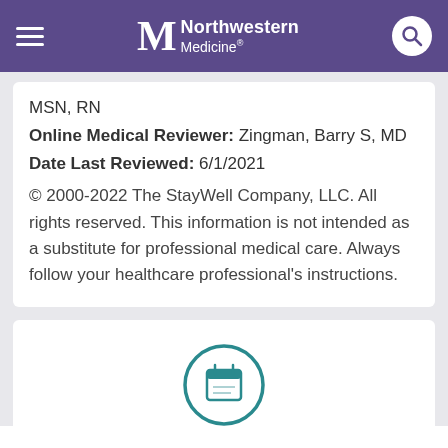Northwestern Medicine
MSN, RN
Online Medical Reviewer: Zingman, Barry S, MD
Date Last Reviewed: 6/1/2021
© 2000-2022 The StayWell Company, LLC. All rights reserved. This information is not intended as a substitute for professional medical care. Always follow your healthcare professional's instructions.
[Figure (illustration): Circular teal-bordered calendar icon with a calendar glyph inside]
Request Appointment